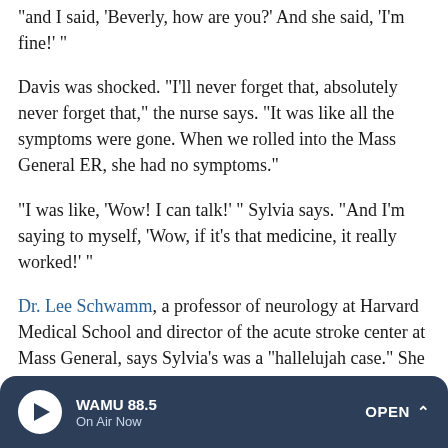"and I said, 'Beverly, how are you?' And she said, 'I'm fine!' "
Davis was shocked. "I'll never forget that, absolutely never forget that," the nurse says. "It was like all the symptoms were gone. When we rolled into the Mass General ER, she had no symptoms."
"I was like, 'Wow! I can talk!' " Sylvia says. "And I'm saying to myself, 'Wow, if it's that medicine, it really worked!' "
Dr. Lee Schwamm, a professor of neurology at Harvard Medical School and director of the acute stroke center at Mass General, says Sylvia's was a "hallelujah case." She recognized the symptoms right away, got to the right
WAMU 88.5 On Air Now OPEN